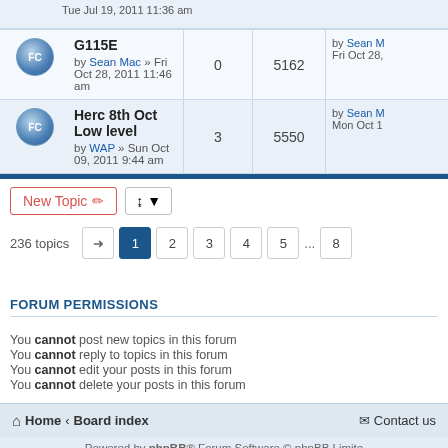Tue Jul 19, 2011 11:36 am
| Topic | Replies | Views | Last post |
| --- | --- | --- | --- |
| G115E by Sean Mac » Fri Oct 28, 2011 11:46 am | 0 | 5162 | by Sean M Fri Oct 28, |
| Herc 8th Oct Low level by WAP » Sun Oct 09, 2011 9:44 am | 3 | 5550 | by Sean M Mon Oct 1 |
New Topic | Sort | 236 topics | 1 2 3 4 5 ... 8
FORUM PERMISSIONS
You cannot post new topics in this forum
You cannot reply to topics in this forum
You cannot edit your posts in this forum
You cannot delete your posts in this forum
Home · Board index   Contact us
Powered by phpBB® Forum Software © phpBB Limited © AeroResource, 2022